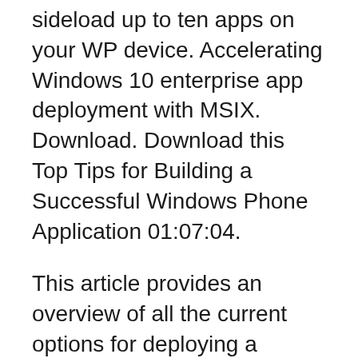sideload up to ten apps on your WP device. Accelerating Windows 10 enterprise app deployment with MSIX. Download. Download this Top Tips for Building a Successful Windows Phone Application 01:07:04.
This article provides an overview of all the current options for deploying a Windows Phone app to a device. Development unlocked device. The most useful deployment Part of the latest Windows 10 SDK, a new stand-alone utility allows developers to deploy Universal Windows apps to Windows 10 Mobile devices for testing.
...1075f... (truncated/partially visible)